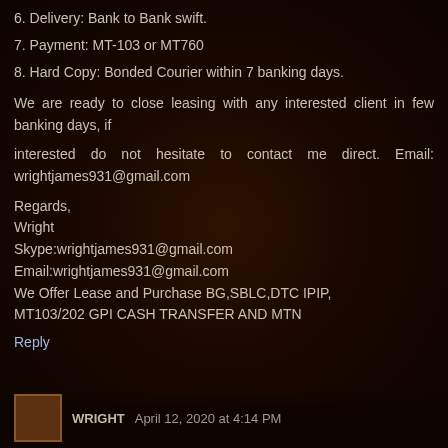6. Delivery: Bank to Bank swift.
7. Payment: MT-103 or MT760
8. Hard Copy: Bonded Courier within 7 banking days.
We are ready to close leasing with any interested client in few banking days, if
interested do not hesitate to contact me direct. Email: wrightjames931@gmail.com
Regards,
Wright
Skype:wrightjames931@gmail.com
Email:wrightjames931@gmail.com
We Offer Lease and Purchase BG,SBLC,DTC IPIP, MT103/202 GPI CASH TRANSFER AND MTN
Reply
WRIGHT April 12, 2020 at 4:14 PM